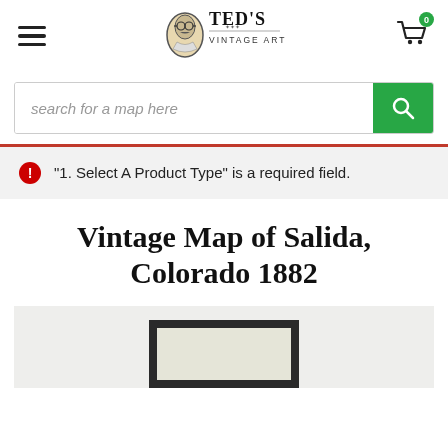[Figure (logo): Ted's Vintage Art logo with illustrated portrait of man with glasses and mustache, decorative flourish, and text 'TED'S VINTAGE ART']
[Figure (screenshot): Search bar with italic placeholder text 'search for a map here' and green search button with magnifying glass icon]
"1. Select A Product Type" is a required field.
Vintage Map of Salida, Colorado 1882
[Figure (photo): Bottom portion of page showing a framed vintage map product preview on grey background]